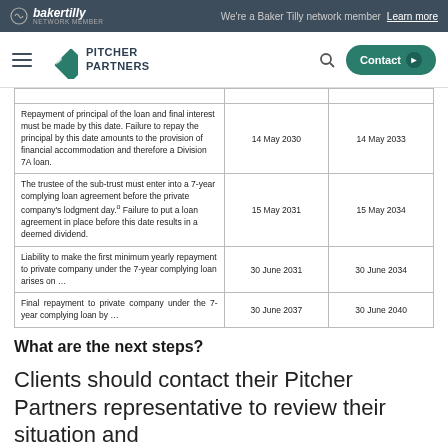bakertilly — We're a Baker Tilly network member — Learn more
Pitcher Partners — Contact
|  |  |  |
| --- | --- | --- |
| Repayment of principal of the loan and final interest must be made by this date. Failure to repay the principal by this date amounts to the provision of financial accommodation and therefore a Division 7A loan. | 14 May 2030 | 14 May 2033 |
| The trustee of the sub-trust must enter into a 7-year complying loan agreement before the private company's lodgment day.° Failure to put a loan agreement in place before this date results in a deemed dividend. | 15 May 2031 | 15 May 2034 |
| Liability to make the first minimum yearly repayment to private company under the 7-year complying loan arises on … | 30 June 2031 | 30 June 2034 |
| Final repayment to private company under the 7-year complying loan by … | 30 June 2037 | 30 June 2040 |
What are the next steps?
Clients should contact their Pitcher Partners representative to review their situation and